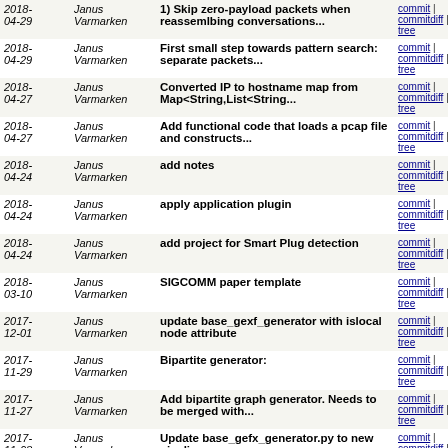| Date | Author | Commit message | Links |
| --- | --- | --- | --- |
| 2018-04-29 | Janus Varmarken | 1) Skip zero-payload packets when reassemlbing conversations... | commit | commitdiff | tree |
| 2018-04-29 | Janus Varmarken | First small step towards pattern search: separate packets... | commit | commitdiff | tree |
| 2018-04-27 | Janus Varmarken | Converted IP to hostname map from Map<String,List<String... | commit | commitdiff | tree |
| 2018-04-27 | Janus Varmarken | Add functional code that loads a pcap file and constructs... | commit | commitdiff | tree |
| 2018-04-24 | Janus Varmarken | add notes | commit | commitdiff | tree |
| 2018-04-24 | Janus Varmarken | apply application plugin | commit | commitdiff | tree |
| 2018-04-24 | Janus Varmarken | add project for Smart Plug detection | commit | commitdiff | tree |
| 2018-03-10 | Janus Varmarken | SIGCOMM paper template | commit | commitdiff | tree |
| 2017-12-01 | Janus Varmarken | update base_gexf_generator with islocal node attribute | commit | commitdiff | tree |
| 2017-11-29 | Janus Varmarken | Bipartite generator: | commit | commitdiff | tree |
| 2017-11-27 | Janus Varmarken | Add bipartite graph generator. Needs to be merged with... | commit | commitdiff | tree |
| 2017-11-08 | Janus Varmarken | Update base_gefx_generator.py to new pipeline | commit | commitdiff | tree |
| 2017-11-06 | Janus Varmarken | Update pipeline: graph now maps IoT devices' MACs to... | commit | commitdiff | tree |